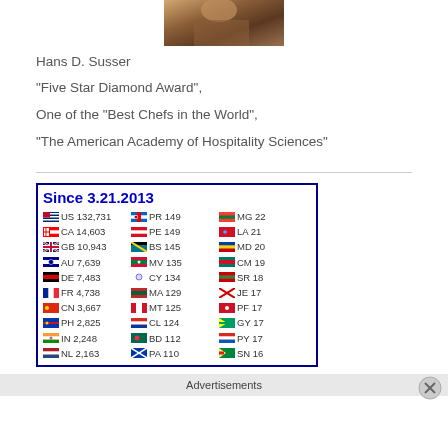[Figure (photo): Partial photo of a person, cropped at top of page]
Hans D. Susser
"Five Star Diamond Award",
One of the "Best Chefs in the World",
"The American Academy of Hospitality Sciences"
[Figure (table-as-image): Website visitor statistics table showing country codes and visitor counts since 3.21.2013. US 132,731; CA 14,603; GB 10,943; AU 7,639; DE 7,483; FR 4,738; CN 3,667; PH 2,825; IN 2,248; NL 2,163; PR 149; PE 149; BS 145; MV 135; CY 134; MA 129; MT 125; CL 124; BD 112; PA 110; MG 22; LA 21; MD 20; CM 19; SR 18; JE 17; PF 17; GY 17; PY 17; SN 16]
Advertisements